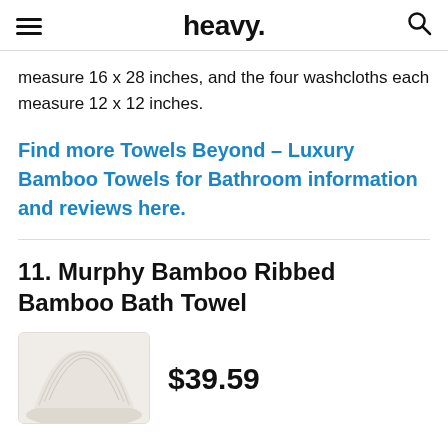heavy.
measure 16 x 28 inches, and the four washcloths each measure 12 x 12 inches.
Find more Towels Beyond – Luxury Bamboo Towels for Bathroom information and reviews here.
11. Murphy Bamboo Ribbed Bamboo Bath Towel
[Figure (photo): Product photo of a beige/cream ribbed bamboo bath towel]
$39.59